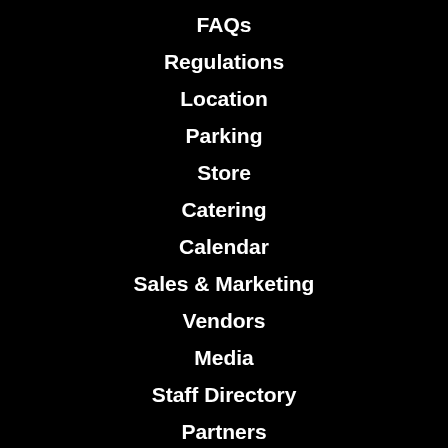FAQs
Regulations
Location
Parking
Store
Catering
Calendar
Sales & Marketing
Vendors
Media
Staff Directory
Partners
Community Partners
Now Hiring
Volunteer